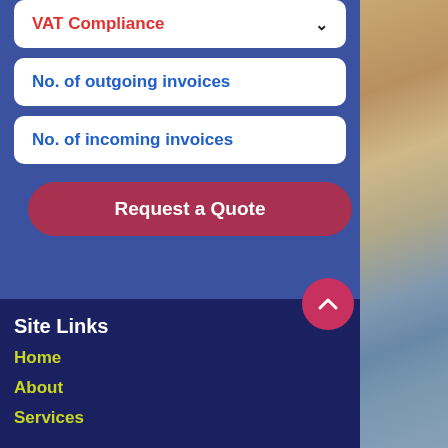VAT Compliance
No. of outgoing invoices
No. of incoming invoices
Request a Quote
Site Links
Home
About
Services